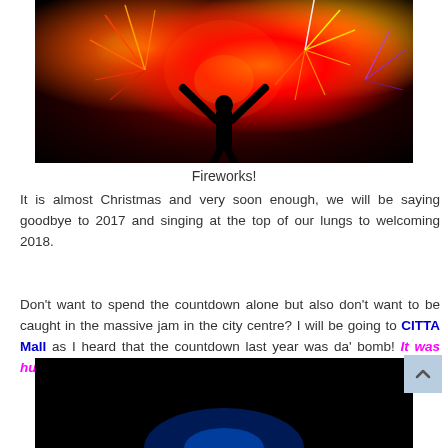[Figure (photo): Silhouette of a person with arms raised against a colorful fireworks display in the night sky]
Fireworks!
It is almost Christmas and very soon enough, we will be saying goodbye to 2017 and singing at the top of our lungs to welcoming 2018.
Don't want to spend the countdown alone but also don't want to be caught in the massive jam in the city centre? I will be going to CITTA Mall as I heard that the countdown last year was da' bomb! It was huge and it was merry and it was a party!
[Figure (photo): Dark stage or night event scene with blue lighting, partially visible at bottom of page]